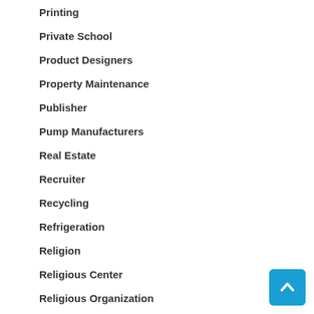Printing
Private School
Product Designers
Property Maintenance
Publisher
Pump Manufacturers
Real Estate
Recruiter
Recycling
Refrigeration
Religion
Religious Center
Religious Organization
Repairing Service
Residential Fencing
restaurant
Restaurant Industry